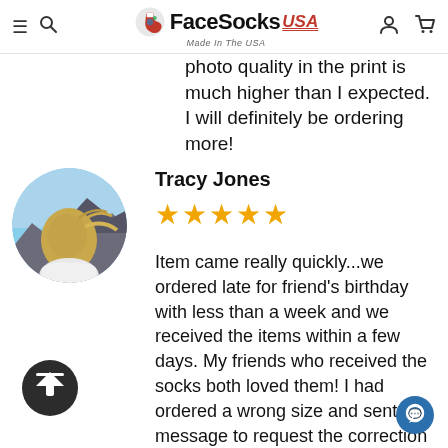FaceSocks USA — Made In The USA
photo quality in the print is much higher than I expected. I will definitely be ordering more!
Tracy Jones
★★★★★
Item came really quickly...we ordered late for friend's birthday with less than a week and we received the items within a few days. My friends who received the socks both loved them! I had ordered a wrong size and sent a message to request the correction and they immediately made the